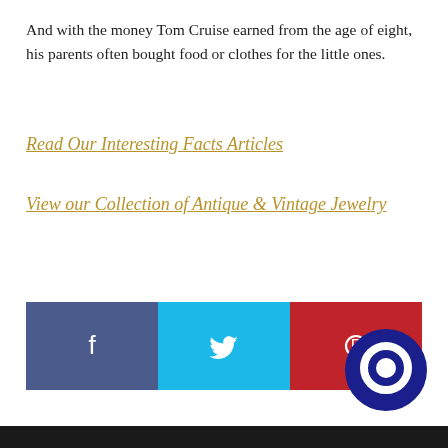And with the money Tom Cruise earned from the age of eight, his parents often bought food or clothes for the little ones.
Read Our Interesting Facts Articles
View our Collection of Antique & Vintage Jewelry
[Figure (infographic): Social sharing bar with three buttons: Facebook (blue-gray), Twitter (cyan), Pinterest (red), each with respective white icons]
[Figure (other): Dark blue circular chat bubble icon in the bottom-right corner]